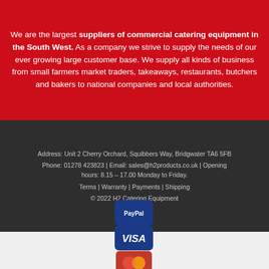We are the largest suppliers of commercial catering equipment in the South West. As a company we strive to supply the needs of our ever growing large customer base. We supply all kinds of business from small farmers market traders, takeaways, restaurants, butchers and bakers to national companies and local authorities.
Address: Unit 2 Cherry Orchard, Squibbers Way, Bridgwater TA6 5FB
Phone: 01278 423823 | Email: sales@h2products.co.uk | Opening hours: 8.15 – 17.00 Monday to Friday.
Terms | Warranty | Payments | Shipping
© 2022 H2 Catering Equipment
[Figure (logo): Payment method logos: PayPal, Visa, Mastercard, American Express]